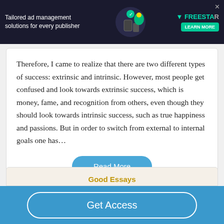[Figure (other): Dark advertisement banner for Freestar ad management solutions with green character graphic, Freestar logo, and 'Learn More' button]
Therefore, I came to realize that there are two different types of success: extrinsic and intrinsic. However, most people get confused and look towards extrinsic success, which is money, fame, and recognition from others, even though they should look towards intrinsic success, such as true happiness and passions. But in order to switch from external to internal goals one has…
Read More
Good Essays
Get Access